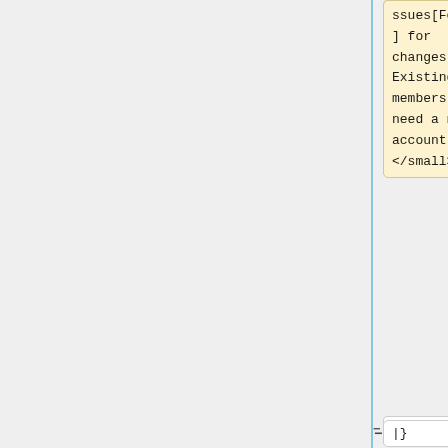ssues[Forum]
] for
changes.
Existing
members
need a new
account.
</small>'''
|}
=== '''Help
Write
Articles
about our
World''' ===
=== '''Help
Write
Articles
about our
World''' ===
Line 35:
Line 29: